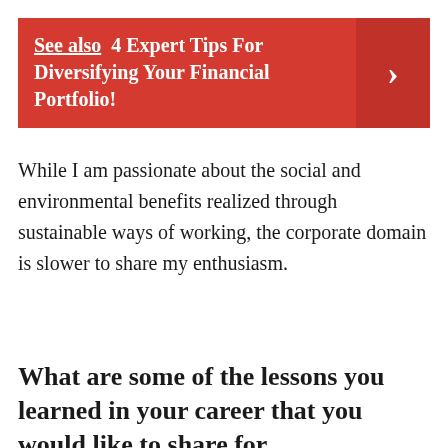[Figure (infographic): Red banner with 'See also 4 Expert Tips For Diversifying Your Financial Portfolio!' text and a right-arrow chevron on the right side]
While I am passionate about the social and environmental benefits realized through sustainable ways of working, the corporate domain is slower to share my enthusiasm.
What are some of the lessons you learned in your career that you would like to share for